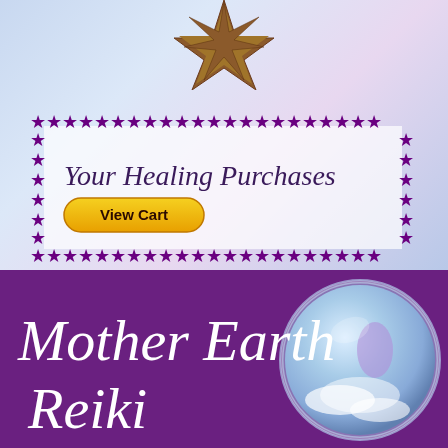[Figure (illustration): A brown/golden starfish shape at the top center of the page against a light blue-purple gradient background]
[Figure (infographic): A rectangular border made of purple stars containing the text 'Your Healing Purchases' in cursive and a yellow 'View Cart' button]
Your Healing Purchases
View Cart
[Figure (logo): Mother Earth Reiki logo on purple background with cursive white text and a circular crystal ball illustration with clouds and a fairy on the right side]